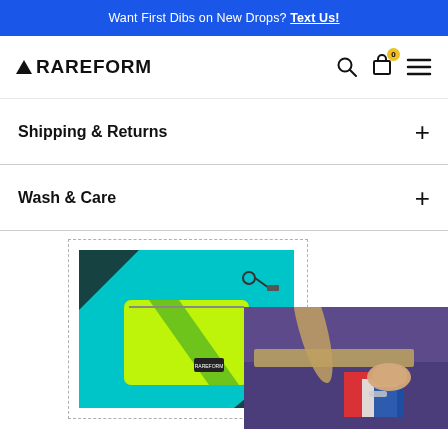Want First Dibs on New Drops? Text Us!
RAREFORM
Shipping & Returns
Wash & Care
[Figure (photo): Neon green upcycled bag on teal background with car keys]
[Figure (photo): Person handling colorful fabric/billboard material at a workbench]